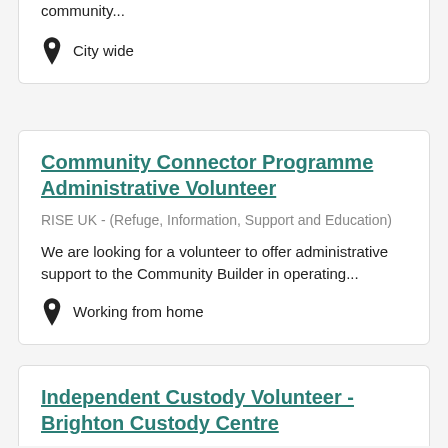community...
City wide
Community Connector Programme Administrative Volunteer
RISE UK - (Refuge, Information, Support and Education)
We are looking for a volunteer to offer administrative support to the Community Builder in operating...
Working from home
Independent Custody Volunteer - Brighton Custody Centre